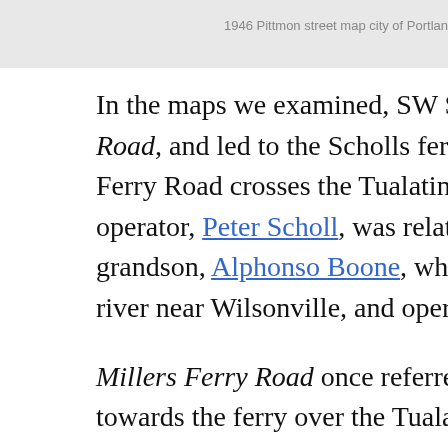1946 Pittmon street map city of Portland
In the maps we examined, SW Scholls Ferry Road has been commonly called Scholls Ferry Road, and led to the Scholls ferry over the Tualatin river, approximately where Scholls Ferry Road crosses the Tualatin river at the town of Scholls, several miles west of Beaverton. The operator, Peter Scholl, was related to the notable pioneer Daniel Boone through his grandson, Alphonso Boone, who established Boone's ferry. Boone's ferry crossed the Tualatin river near Wilsonville, and operated from 1847 to 1954.
Millers Ferry Road once referred to the route of SW Shattuck Road, which ran towards the ferry over the Tualatin river operated by Christopher Miller. Miller's ferry operated approximately where SW Roy Rogers Road crosses the Tualatin today. Today, Millers Ferry Road has completely disappeared from use.
From 1931 to 1933, the City of Portland undertook a massive street renaming and renumbering project. Bertha-Beaverton Highway became SW Beaverton-Hillsdale Highway per a 1937 (PDF, page 40-2). In Garden Home, avenue names were changed. Westgard Avenue became SW 87th Ave, Nichols Street (somet